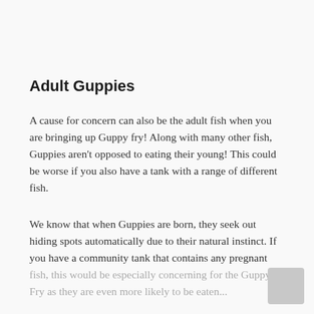Adult Guppies
A cause for concern can also be the adult fish when you are bringing up Guppy fry! Along with many other fish, Guppies aren't opposed to eating their young! This could be worse if you also have a tank with a range of different fish.
We know that when Guppies are born, they seek out hiding spots automatically due to their natural instinct. If you have a community tank that contains any pregnant fish, this would be especially concerning for the Guppy Fry as they are even more likely to be eaten...